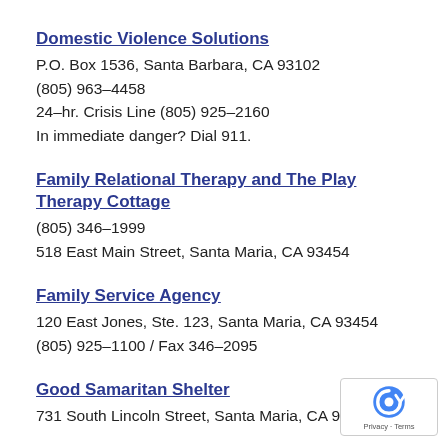Domestic Violence Solutions
P.O. Box 1536, Santa Barbara, CA 93102
(805) 963–4458
24–hr. Crisis Line (805) 925–2160
In immediate danger? Dial 911.
Family Relational Therapy and The Play Therapy Cottage
(805) 346–1999
518 East Main Street, Santa Maria, CA 93454
Family Service Agency
120 East Jones, Ste. 123, Santa Maria, CA 93454
(805) 925–1100 / Fax 346–2095
Good Samaritan Shelter
731 South Lincoln Street, Santa Maria, CA 93458